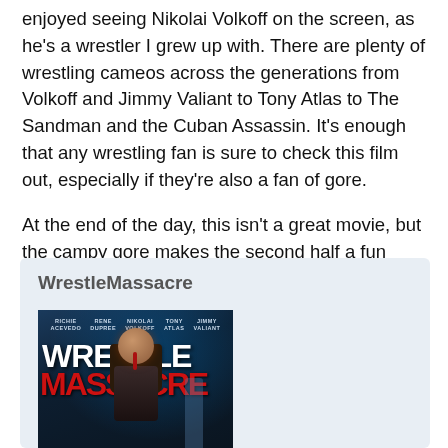enjoyed seeing Nikolai Volkoff on the screen, as he's a wrestler I grew up with. There are plenty of wrestling cameos across the generations from Volkoff and Jimmy Valiant to Tony Atlas to The Sandman and the Cuban Assassin. It's enough that any wrestling fan is sure to check this film out, especially if they're also a fan of gore.
At the end of the day, this isn't a great movie, but the campy gore makes the second half a fun watch. Check it out on June 16.
WrestleMassacre
[Figure (photo): Movie poster for WrestleMassacre showing the title in large red and white text with cast names at top (Richie Acevedo, Rene Dupree, Nikolai Volkoff, Tony Atlas, Jimmy Valiant) and a blood-covered long-haired figure in the foreground against a dark blue-toned background.]